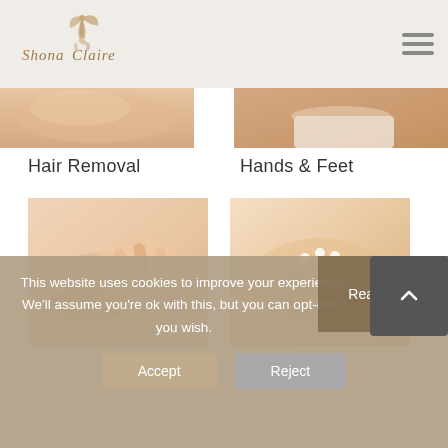[Figure (logo): Shona Claire beauty brand logo with stylized bird/feather motif in tan/gold color]
[Figure (photo): Close-up of a person's midriff/torso skin - top left image strip]
[Figure (photo): Close-up of a person's hip in white underwear - top right image strip]
Hair Removal
Hands & Feet
[Figure (photo): Hands massaging or treating feet/legs - beauty treatment image]
[Figure (photo): Hands applying cream/product dots to a person's hand - manicure/hand treatment]
This website uses cookies to improve your experience. We'll assume you're ok with this, but you can opt-out if you wish. Read More
Accept
Reject